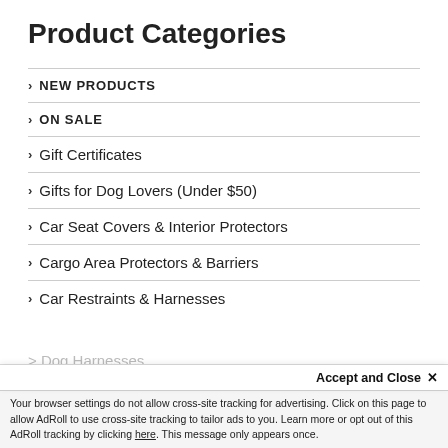Product Categories
NEW PRODUCTS
ON SALE
Gift Certificates
Gifts for Dog Lovers (Under $50)
Car Seat Covers & Interior Protectors
Cargo Area Protectors & Barriers
Car Restraints & Harnesses
Accept and Close ×
Your browser settings do not allow cross-site tracking for advertising. Click on this page to allow AdRoll to use cross-site tracking to tailor ads to you. Learn more or opt out of this AdRoll tracking by clicking here. This message only appears once.
Dog Harnesses